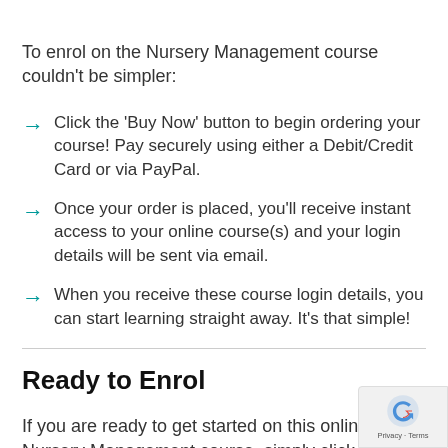To enrol on the Nursery Management course couldn't be simpler:
Click the 'Buy Now' button to begin ordering your course! Pay securely using either a Debit/Credit Card or via PayPal.
Once your order is placed, you'll receive instant access to your online course(s) and your login details will be sent via email.
When you receive these course login details, you can start learning straight away. It's that simple!
Ready to Enrol
If you are ready to get started on this online Nursery Management course, simply click the